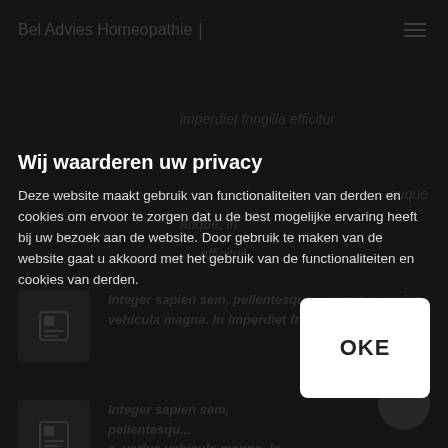Bel Advies Homeopathie
Wij waarderen uw privacy
Deze website maakt gebruik van functionaliteiten van derden en cookies om ervoor te zorgen dat u de best mogelijke ervaring heeft bij uw bezoek aan de website. Door gebruik te maken van de website gaat u akkoord met het gebruik van de functionaliteiten en cookies van derden.
[Figure (screenshot): OKE button (white rounded rectangle with bold OKE text)]